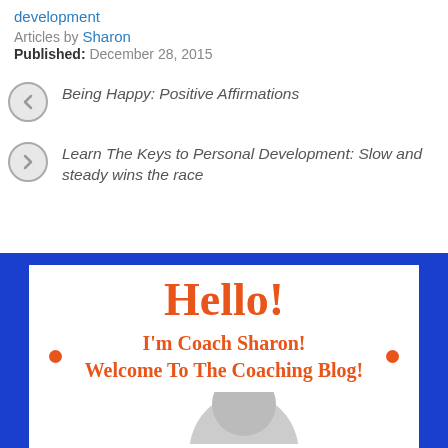development
Articles by Sharon
Published: December 28, 2015
Being Happy: Positive Affirmations
Learn The Keys to Personal Development: Slow and steady wins the race
[Figure (illustration): Coaching blog banner with blue background and white ribbon banner reading 'Hello! I'm Coach Sharon! Welcome To The Coaching Blog!' with a person photo at the bottom.]